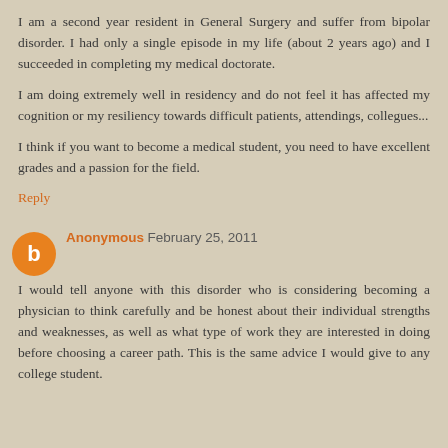I am a second year resident in General Surgery and suffer from bipolar disorder. I had only a single episode in my life (about 2 years ago) and I succeeded in completing my medical doctorate.
I am doing extremely well in residency and do not feel it has affected my cognition or my resiliency towards difficult patients, attendings, collegues...
I think if you want to become a medical student, you need to have excellent grades and a passion for the field.
Reply
Anonymous February 25, 2011
I would tell anyone with this disorder who is considering becoming a physician to think carefully and be honest about their individual strengths and weaknesses, as well as what type of work they are interested in doing before choosing a career path. This is the same advice I would give to any college student.